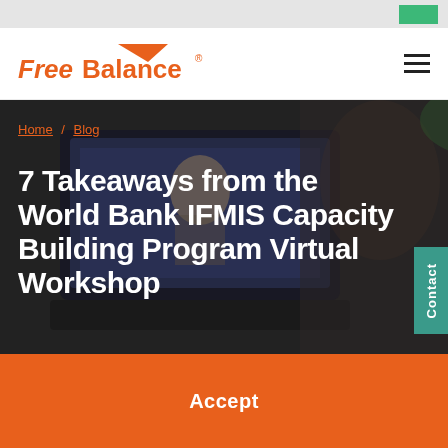FreeBalance
[Figure (photo): Hero image showing a person on a video call with a laptop, dimly lit background representing a virtual workshop setting. Breadcrumb navigation showing Home / Blog overlaid on the image.]
7 Takeaways from the World Bank IFMIS Capacity Building Program Virtual Workshop
Accept